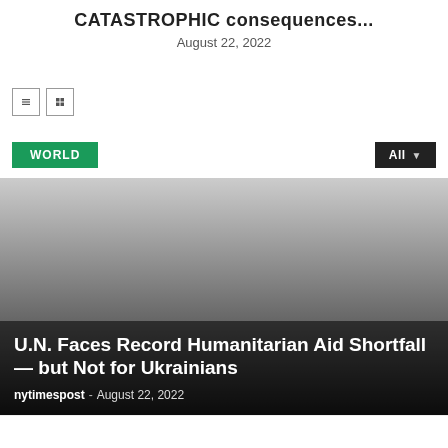CATASTROPHIC consequences...
August 22, 2022
WORLD
All
[Figure (photo): Dark gradient image used as article card background, transitioning from light gray at top to near black at bottom]
U.N. Faces Record Humanitarian Aid Shortfall — but Not for Ukrainians
nytimespost  -  August 22, 2022